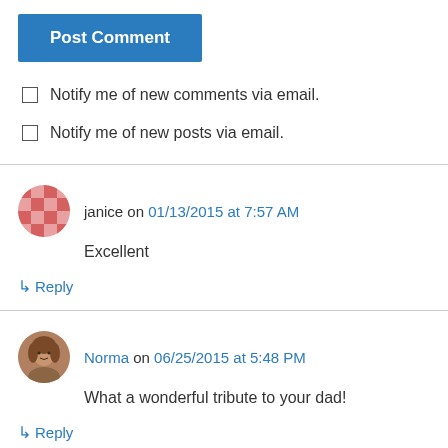Post Comment
Notify me of new comments via email.
Notify me of new posts via email.
janice on 01/13/2015 at 7:57 AM
Excellent
↳ Reply
Norma on 06/25/2015 at 5:48 PM
What a wonderful tribute to your dad!
↳ Reply